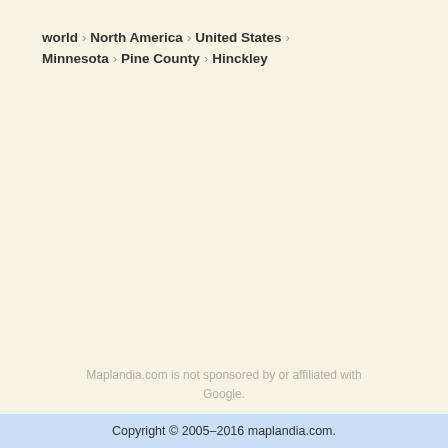world > North America > United States > Minnesota > Pine County > Hinckley
Maplandia.com is not sponsored by or affiliated with Google.
Copyright © 2005–2016 maplandia.com.